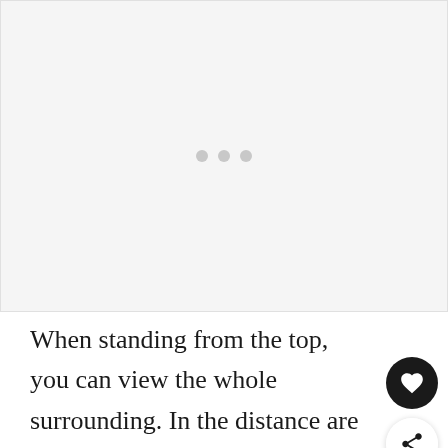[Figure (photo): A light gray placeholder image area with three small gray dots centered in the middle, indicating an image is loading or unavailable.]
When standing from the top, you can view the whole surrounding. In the distance are fishing boats undulating in the mist, and th